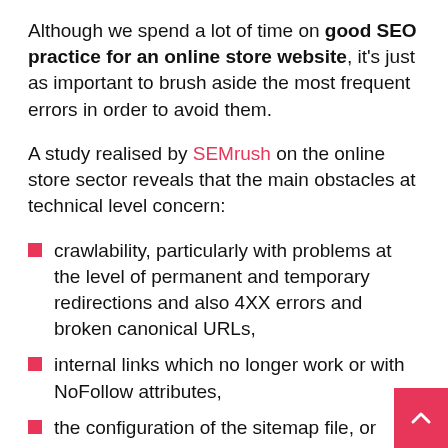Although we spend a lot of time on good SEO practice for an online store website, it's just as important to brush aside the most frequent errors in order to avoid them.
A study realised by SEMrush on the online store sector reveals that the main obstacles at technical level concern:
crawlability, particularly with problems at the level of permanent and temporary redirections and also 4XX errors and broken canonical URLs,
internal links which no longer work or with NoFollow attributes,
the configuration of the sitemap file, or even